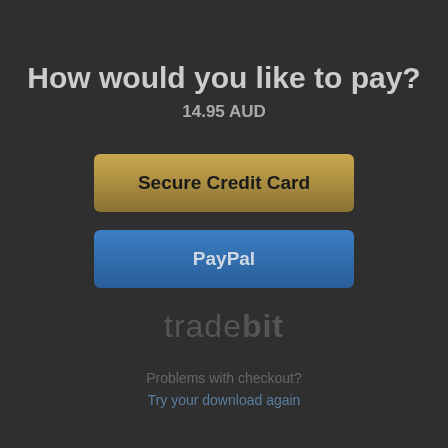How would you like to pay?
14.95 AUD
Secure Credit Card
PayPal
[Figure (logo): Tradebit logo in dark grey text reading 'tradebit']
Problems with checkout?
Try your download again